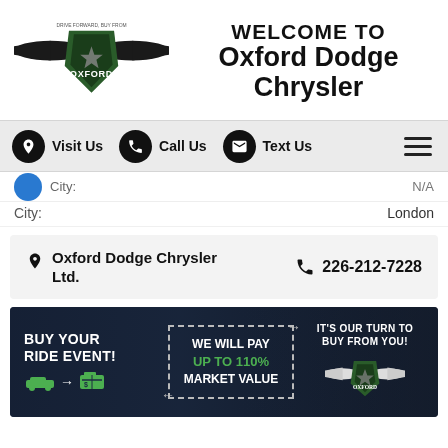[Figure (logo): Oxford Dodge Chrysler shield logo with wings and green emblem]
WELCOME TO Oxford Dodge Chrysler
[Figure (infographic): Navigation bar with Visit Us, Call Us, Text Us icons and hamburger menu]
City: London
Oxford Dodge Chrysler Ltd.   226-212-7228
[Figure (infographic): Promotional banner: BUY YOUR RIDE EVENT! WE WILL PAY UP TO 110% MARKET VALUE. IT'S OUR TURN TO BUY FROM YOU! Oxford logo.]